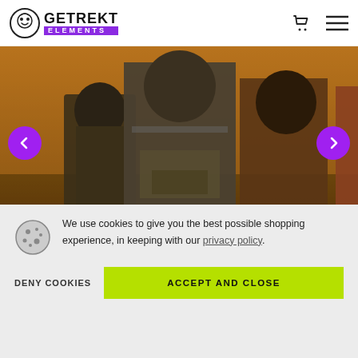GETREKT ELEMENTS
[Figure (screenshot): Slider hero image showing Call of Duty style soldiers/operators in battle gear against a desert background, with left and right purple carousel navigation arrows]
We use cookies to give you the best possible shopping experience, in keeping with our privacy policy.
DENY COOKIES
ACCEPT AND CLOSE